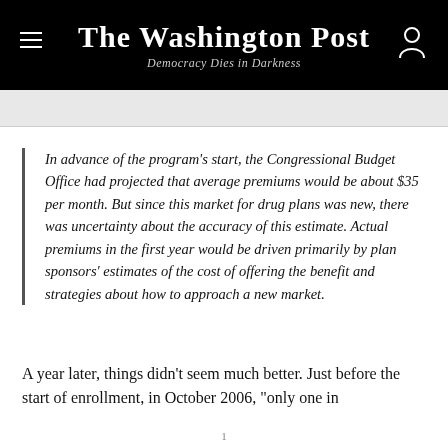The Washington Post
Democracy Dies in Darkness
In advance of the program's start, the Congressional Budget Office had projected that average premiums would be about $35 per month. But since this market for drug plans was new, there was uncertainty about the accuracy of this estimate. Actual premiums in the first year would be driven primarily by plan sponsors' estimates of the cost of offering the benefit and strategies about how to approach a new market.
A year later, things didn't seem much better. Just before the start of enrollment, in October 2006, "only one in